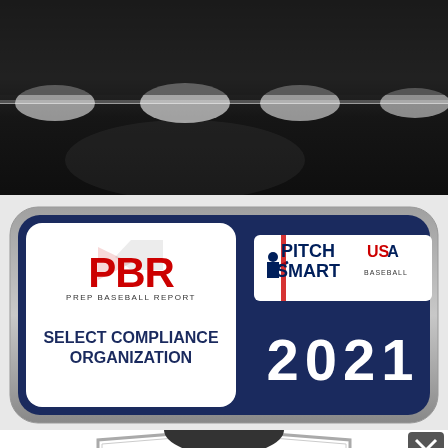[Figure (photo): Dark baseball stadium background with dramatic lighting showing light beams against a dark metallic/black background]
[Figure (logo): PBR Prep Baseball Report SELECT COMPLIANCE ORGANIZATION badge combined with MLB Pitch Smart USA Baseball 2021 compliance logo on a dark navy blue pill-shaped badge with silver/gray border]
[Figure (logo): Prep Baseball Report PRESEASON logo shield/badge, partially visible at bottom of page, gray and red colors with a baseball helmet on top]